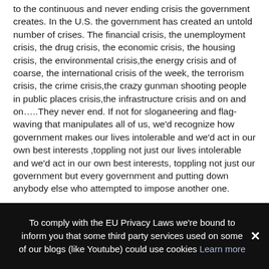to the continuous and never ending crisis the government creates. In the U.S. the government has created an untold number of crises. The financial crisis, the unemployment crisis, the drug crisis, the economic crisis, the housing crisis, the environmental crisis,the energy crisis and of coarse, the international crisis of the week, the terrorism crisis, the crime crisis,the crazy gunman shooting people in public places crisis,the infrastructure crisis and on and on…..They never end. If not for sloganeering and flag-waving that manipulates all of us, we'd recognize how government makes our lives intolerable and we'd act in our own best interests ,toppling not just our lives intolerable and we'd act in our own best interests, toppling not just our government but every government and putting down anybody else who attempted to impose another one. My allegiance is to freedom, a world without governments. I don't love my country. I don't have a country. And if I had one, it
To comply with the EU Privacy Laws we're bound to inform you that some third party services used on some of our blogs (like Youtube) could use cookies Learn more